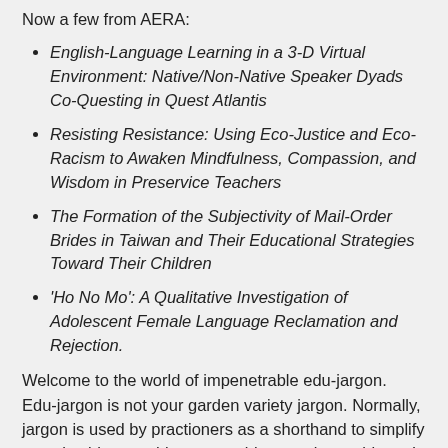Now a few from AERA:
English-Language Learning in a 3-D Virtual Environment: Native/Non-Native Speaker Dyads Co-Questing in Quest Atlantis
Resisting Resistance: Using Eco-Justice and Eco-Racism to Awaken Mindfulness, Compassion, and Wisdom in Preservice Teachers
The Formation of the Subjectivity of Mail-Order Brides in Taiwan and Their Educational Strategies Toward Their Children
'Ho No Mo': A Qualitative Investigation of Adolescent Female Language Reclamation and Rejection.
Welcome to the world of impenetrable edu-jargon. Edu-jargon is not your garden variety jargon. Normally, jargon is used by practioners as a shorthand to simplify complex ideas or things to avoid excessive verbiage. In contrast, edu-jargon is used to obfuscate simple ideas using overly-complex and